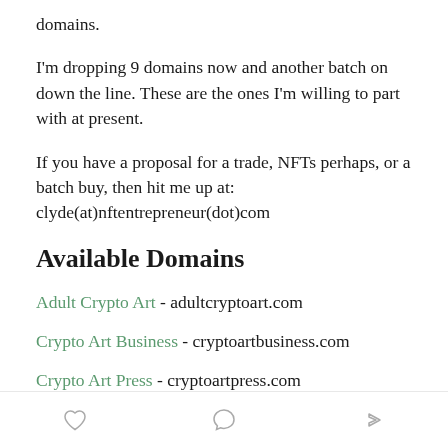domains.
I'm dropping 9 domains now and another batch on down the line. These are the ones I'm willing to part with at present.
If you have a proposal for a trade, NFTs perhaps, or a batch buy, then hit me up at: clyde(at)nftentrepreneur(dot)com
Available Domains
Adult Crypto Art - adultcryptoart.com
Crypto Art Business - cryptoartbusiness.com
Crypto Art Press - cryptoartpress.com